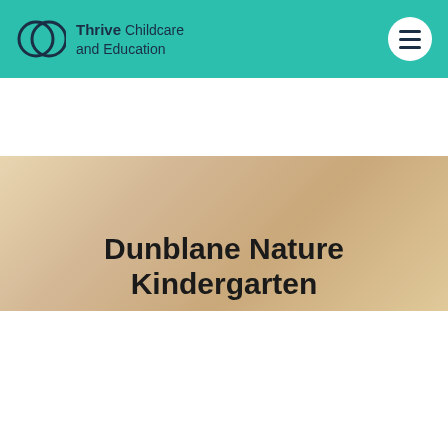Thrive Childcare and Education
Dunblane Nature Kindergarten
We use some essential cookies to make this website work. These cookies aren’t used to track you. We’d like to set additional cookies to understand how you use Thrive Childcare. This information is used to improve our services.
ACCEPT ADDITIONAL COOKIES
REJECT ADDITIONAL COOKIES
View cookies